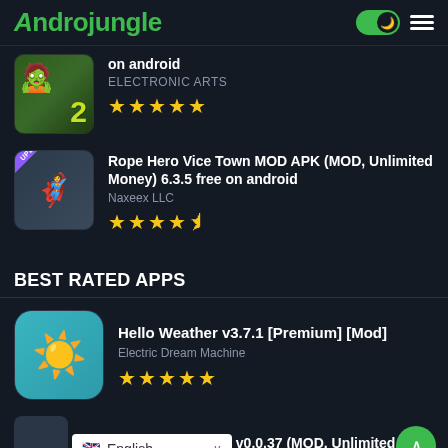Androjungle
on android
ELECTRONIC ARTS
★★★★★
Rope Hero Vice Town MOD APK (MOD, Unlimited Money) 6.3.5 free on android
Naxeex LLC
★★★★½
BEST RATED APPS
Hello Weather v3.7.1 [Premium] [Mod]
Electric Dream Machine
★★★★★
OD APK v0.0.37 (MOD, Unlimited
English